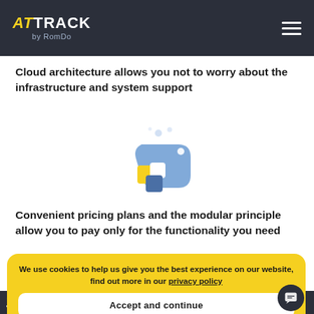ATTRACK by RomDo
Cloud architecture allows you not to worry about the infrastructure and system support
[Figure (illustration): A colorful tag/label icon with yellow, white, and blue squares forming a price-tag shape with small dots above it]
Convenient pricing plans and the modular principle allow you to pay only for the functionality you need
We use cookies to help us give you the best experience on our website, find out more in our privacy policy
Accept and continue
Stop wasting your time